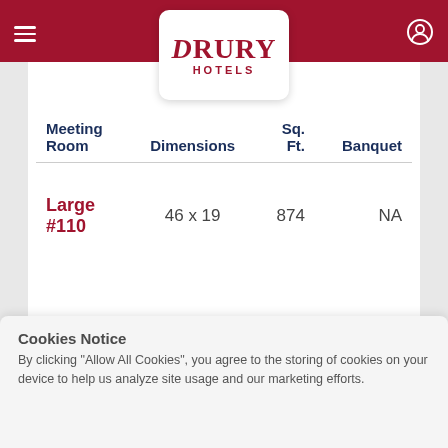[Figure (logo): Drury Hotels logo on white card in header]
| Meeting
Room | Dimensions | Sq.
Ft. | Banquet |
| --- | --- | --- | --- |
| Large
#110 | 46 x 19 | 874 | NA |
Cookies Notice
By clicking "Allow All Cookies", you agree to the storing of cookies on your device to help us analyze site usage and our marketing efforts.